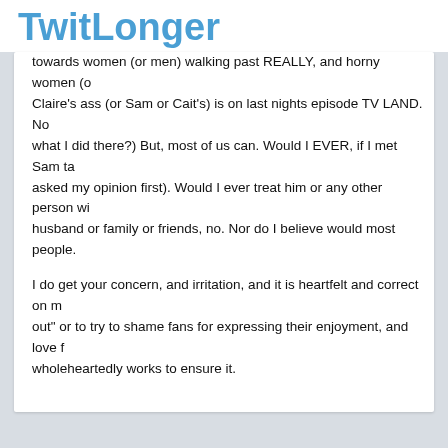TwitLonger
towards women (or men) walking past REALLY, and horny women (or men) who think Claire's ass (or Sam or Cait's) is on last nights episode TV LAND. No (see what I did there?) But, most of us can. Would I EVER, if I met Sam ta... asked my opinion first). Would I ever treat him or any other person wi... husband or family or friends, no. Nor do I believe would most people.
I do get your concern, and irritation, and it is heartfelt and correct on m... out" or to try to shame fans for expressing their enjoyment, and love f... wholeheartedly works to ensure it.
home   about   privacy   api
Follow @TwitLonger
TwitLonger is developed entirely by Stuart Gibson (@stuartgibson). TwitLonge...